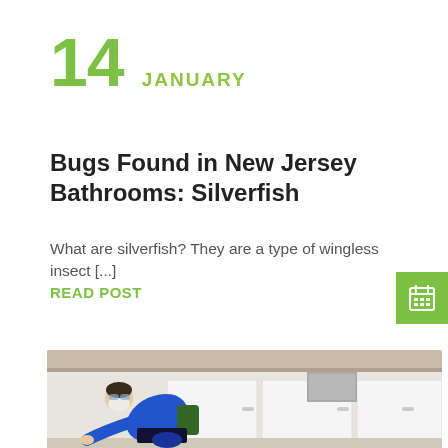14 JANUARY
Bugs Found in New Jersey Bathrooms: Silverfish
What are silverfish? They are a type of wingless insect [...]
READ POST
[Figure (photo): A pest control technician in a blue uniform and white face mask crouching down to inspect under kitchen cabinets]